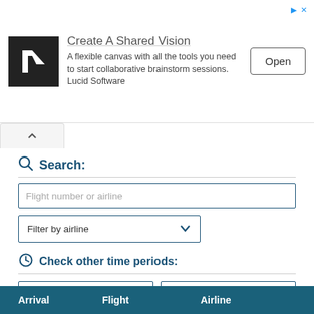[Figure (screenshot): Advertisement banner for Lucid Software showing a dark logo with letter L, title 'Create A Shared Vision', description text, and an Open button.]
Search:
Flight number or airline
Filter by airline
Check other time periods:
2022-08-19 Today
12:00 PM - 05:59 PM
Disclaimer
| Arrival | Flight | Airline |
| --- | --- | --- |